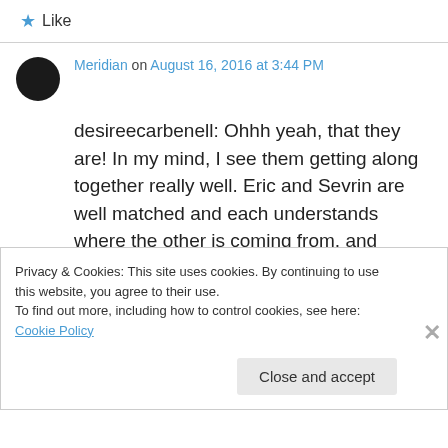★ Like
Meridian on August 16, 2016 at 3:44 PM
desireecarbenell: Ohhh yeah, that they are! In my mind, I see them getting along together really well. Eric and Sevrin are well matched and each understands where the other is coming from, and Sookie and Willa were already good friends. Glad you like it!
Privacy & Cookies: This site uses cookies. By continuing to use this website, you agree to their use.
To find out more, including how to control cookies, see here: Cookie Policy
Close and accept